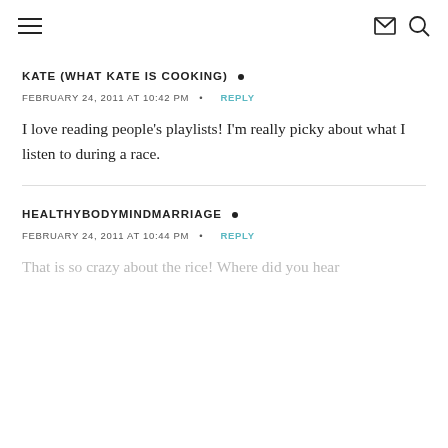≡  ✉ 🔍
KATE (WHAT KATE IS COOKING) •
FEBRUARY 24, 2011 AT 10:42 PM • REPLY
I love reading people's playlists! I'm really picky about what I listen to during a race.
HEALTHYBODYMINDMARRIAGE •
FEBRUARY 24, 2011 AT 10:44 PM • REPLY
That is so crazy about the rice! Where did you hear